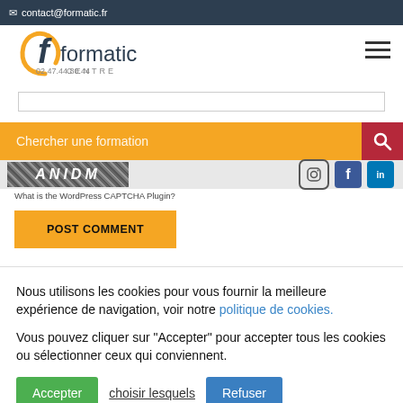contact@formatic.fr
[Figure (logo): Formatic Centre logo with orange arc and text '02.47.44.80.44 CENTRE']
Chercher une formation
What is the WordPress CAPTCHA Plugin?
POST COMMENT
Nous utilisons les cookies pour vous fournir la meilleure expérience de navigation, voir notre politique de cookies.
Vous pouvez cliquer sur "Accepter" pour accepter tous les cookies ou sélectionner ceux qui conviennent.
Accepter
choisir lesquels
Refuser